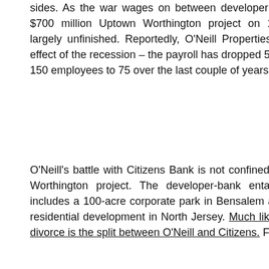sides. As the war wages on between developer and bank, the $700 million Uptown Worthington project on 106 acres sits largely unfinished. Reportedly, O'Neill Properties is feeling the effect of the recession – the payroll has dropped 50%, down from 150 employees to 75 over the last couple of years.
O'Neill's battle with Citizens Bank is not confined to the Uptown Worthington project. The developer-bank entanglement also includes a 100-acre corporate park in Bensalem and a 400-acre residential development in North Jersey. Much like a high-profile divorce is the split between O'Neill and Citizens. For eight